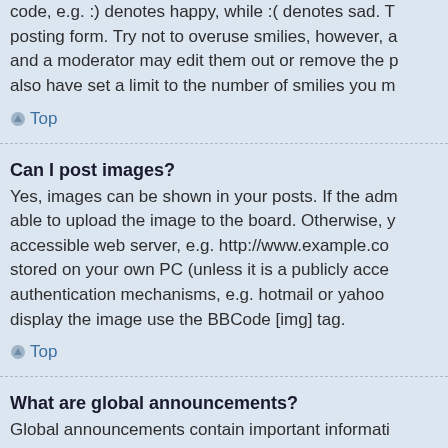code, e.g. :) denotes happy, while :( denotes sad. The posting form. Try not to overuse smilies, however, a and a moderator may edit them out or remove the p also have set a limit to the number of smilies you m
Top
Can I post images?
Yes, images can be shown in your posts. If the adm able to upload the image to the board. Otherwise, y accessible web server, e.g. http://www.example.co stored on your own PC (unless it is a publicly acce authentication mechanisms, e.g. hotmail or yahoo display the image use the BBCode [img] tag.
Top
What are global announcements?
Global announcements contain important informati possible. They will appear at the top of every forum announcement permissions are granted by the boa
Top
What are announcements?